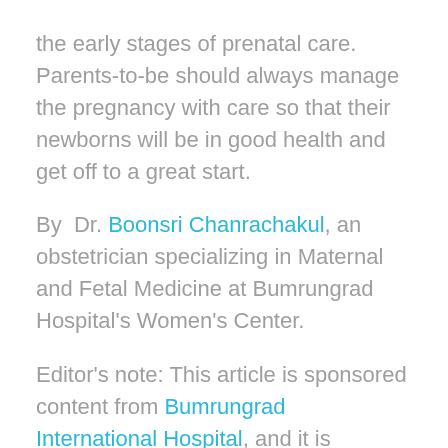the early stages of prenatal care. Parents-to-be should always manage the pregnancy with care so that their newborns will be in good health and get off to a great start.
By  Dr. Boonsri Chanrachakul, an obstetrician specializing in Maternal and Fetal Medicine at Bumrungrad Hospital's Women's Center.
Editor's note: This article is sponsored content from Bumrungrad International Hospital, and it is reprinted here with permission of the hospital.